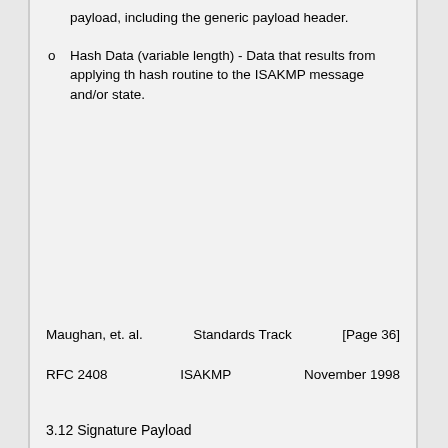payload, including the generic payload header.
Hash Data (variable length) - Data that results from applying the hash routine to the ISAKMP message and/or state.
Maughan, et. al.          Standards Track                    [Page 36]
RFC 2408                        ISAKMP                      November 1998
3.12 Signature Payload